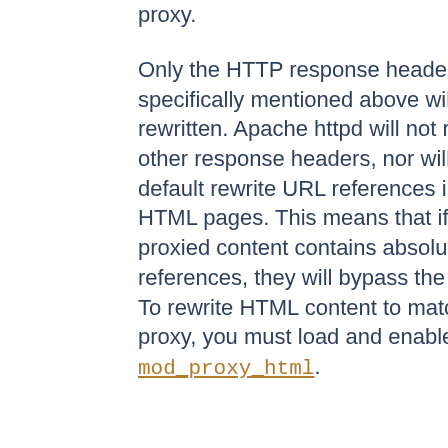proxy.
Only the HTTP response headers specifically mentioned above will be rewritten. Apache httpd will not rewrite other response headers, nor will it by default rewrite URL references inside HTML pages. This means that if the proxied content contains absolute URL references, they will bypass the proxy. To rewrite HTML content to match the proxy, you must load and enable mod_proxy_html.
path is the name of a local virtual path; url is a partial URL for the remote server. These parameters are used the same way as for the ProxyPass